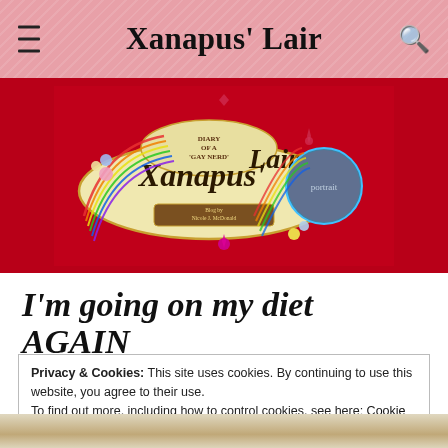Xanapus' Lair
[Figure (illustration): Xanapus' Lair blog logo on a red background featuring ornate Victorian-style text 'Xanapus' Lair', subtitle 'Diary of a Gay Nerd', 'Blog by Nicole J. McDonald', decorative flowers and rainbow swirls, and a circular portrait photo.]
I'm going on my diet AGAIN
Privacy & Cookies: This site uses cookies. By continuing to use this website, you agree to their use.
To find out more, including how to control cookies, see here: Cookie Policy
[Figure (photo): Bottom portion of a lifestyle/food photo showing a table with items related to dieting.]